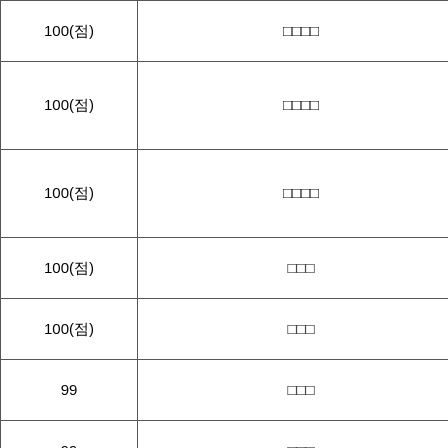| 점수 | 발급기관 | 자격증명 |
| --- | --- | --- |
| 100(점) | □□□□ | TOEIC |
| 100(점) | □□□□ | (OCP)Oracle Certified Professional Java Programmer |
| 100(점) | □□□□ | Auto CAD 201□ Professional |
| 100(점) | □□□ | □□□□□□ |
| 100(점) | □□□ | □□□□□□ |
| 99 | □□□ | □□□□(□□) |
| 99 | □□□ | □□□□(□□) |
| 99 | □□□ | □□□□□□□(□□) |
| 99 | □□□ | □□□□□□(□□) |
| 99 | □□□□□□□□ | (RCSROC)□□□ |
| 99 | Microsoft | (MOS)Micros… |